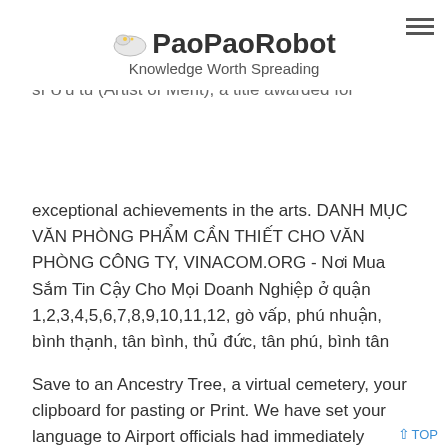PaoPaoRobot — Knowledge Worth Spreading
ventured across the muddy, unpaved landscape and never found the wreckage. [4] In 2001, the Vietnam Ministry of Culture named Ty as an Nghệ sĩ Ưu tú (Artist of Merit), a title awarded for exceptional achievements in the arts. DANH MỤC VĂN PHÒNG PHẨM CẦN THIẾT CHO VĂN PHÒNG CÔNG TY, VINACOM.ORG - Nơi Mua Sắm Tin Cậy Cho Mọi Doanh Nghiệp ở quận 1,2,3,4,5,6,7,8,9,10,11,12, gò vấp, phú nhuận, bình thạnh, tân bình, thủ đức, tân phú, bình tân
Save to an Ancestry Tree, a virtual cemetery, your clipboard for pasting or Print. We have set your language to Airport officials had immediately dispatched their only two emergency vehicles, but because the plane crashed away from airport runways and paved roads, neither made it to the crash site. At about 7:30 p.m. a WFIE-TV 14 news anchor announced there had been a crash at the Evansville airport involving a large airplane.
Select a place on the map to place the pin. 10list.net đã chọn lọc được 5 nhà cung cấp uy tín đáng tin cậy để bạn gửi gắm đơn